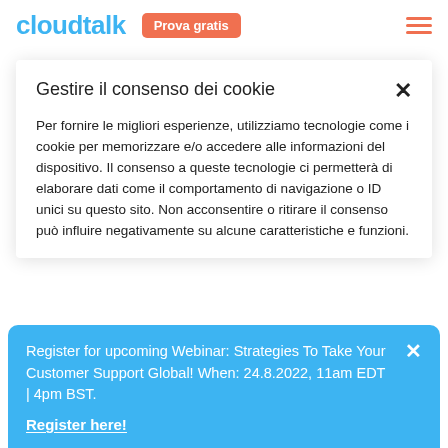cloudtalk | Prova gratis
Operazione 22, non ti sopriamo con 70 strumenti in grado di adattarsi a tutte le tue esigenze aziendali
Gestire il consenso dei cookie
Per fornire le migliori esperienze, utilizziamo tecnologie come i cookie per memorizzare e/o accedere alle informazioni del dispositivo. Il consenso a queste tecnologie ci permetterà di elaborare dati come il comportamento di navigazione o ID unici su questo sito. Non acconsentire o ritirare il consenso può influire negativamente su alcune caratteristiche e funzioni.
Register for upcoming Webinar: Strategies To Take Your Customer Support Global! When: 24.8.2022, 11am EDT | 4pm BST.
Register here!